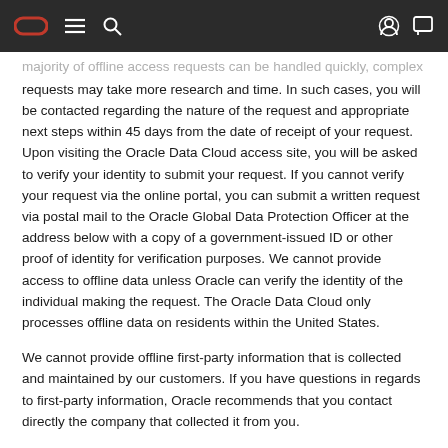Oracle navigation bar
majority of offline access requests can be handled quickly, complex requests may take more research and time. In such cases, you will be contacted regarding the nature of the request and appropriate next steps within 45 days from the date of receipt of your request. Upon visiting the Oracle Data Cloud access site, you will be asked to verify your identity to submit your request. If you cannot verify your request via the online portal, you can submit a written request via postal mail to the Oracle Global Data Protection Officer at the address below with a copy of a government-issued ID or other proof of identity for verification purposes. We cannot provide access to offline data unless Oracle can verify the identity of the individual making the request. The Oracle Data Cloud only processes offline data on residents within the United States.
We cannot provide offline first-party information that is collected and maintained by our customers. If you have questions in regards to first-party information, Oracle recommends that you contact directly the company that collected it from you.
We will respond to your request consistent with applicable law. Oracle will not discriminate against consumers who have exercised the